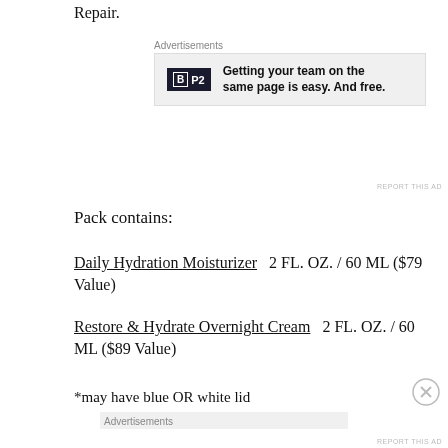Repair.
Advertisements
[Figure (other): P2 advertisement banner: 'Getting your team on the same page is easy. And free.']
Pack contains:
Daily Hydration Moisturizer   2 FL. OZ. / 60 ML ($79 Value)
Restore & Hydrate Overnight Cream   2 FL. OZ. / 60 ML ($89 Value)
*may have blue OR white lid
Advertisements